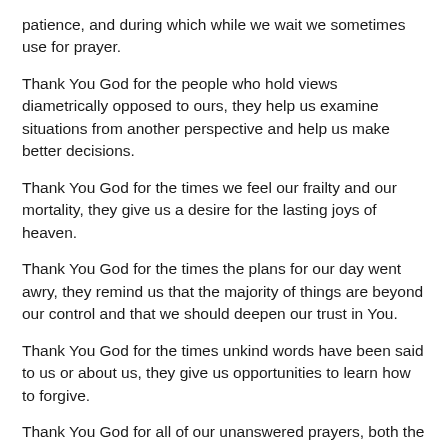patience, and during which while we wait we sometimes use for prayer.
Thank You God for the people who hold views diametrically opposed to ours, they help us examine situations from another perspective and help us make better decisions.
Thank You God for the times we feel our frailty and our mortality, they give us a desire for the lasting joys of heaven.
Thank You God for the times the plans for our day went awry, they remind us that the majority of things are beyond our control and that we should deepen our trust in You.
Thank You God for the times unkind words have been said to us or about us, they give us opportunities to learn how to forgive.
Thank You God for all of our unanswered prayers, both the ones that will never be answered and the ones that have yet to be answered, they teach us that You know what is best for our long term benefit and they make us hunger for a world where there is complete harmony and